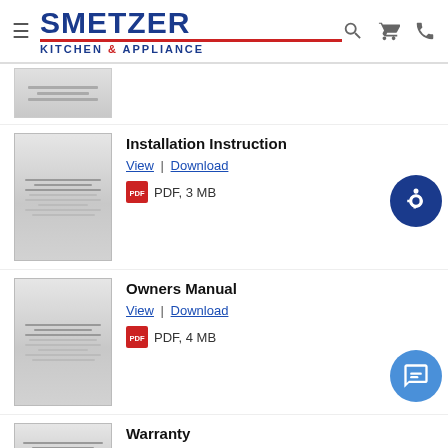[Figure (logo): Smetzer Kitchen & Appliance logo with navigation icons (hamburger menu, search, cart, phone)]
[Figure (other): Partial document thumbnail (cut off at top)]
Installation Instruction
View | Download
PDF, 3 MB
[Figure (other): Thumbnail of Installation Instruction PDF]
Owners Manual
View | Download
PDF, 4 MB
[Figure (other): Thumbnail of Owners Manual PDF]
Warranty
View | Download
[Figure (other): Thumbnail of Warranty PDF (partially visible)]